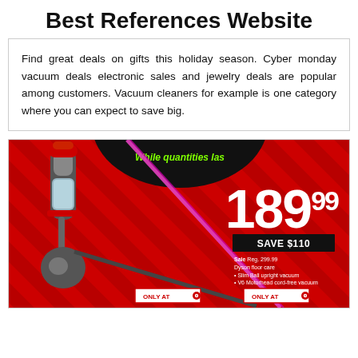Best References Website
Find great deals on gifts this holiday season. Cyber monday vacuum deals electronic sales and jewelry deals are popular among customers. Vacuum cleaners for example is one category where you can expect to save big.
[Figure (photo): Target store advertisement showing a Dyson vacuum cleaner on red background with diagonal stripes, a black circle with 'While quantities last' text, a pink/magenta diagonal beam, price of 189.99, 'SAVE $110' badge, sale details for Dyson floor care products, and two 'ONLY AT' Target logo badges.]